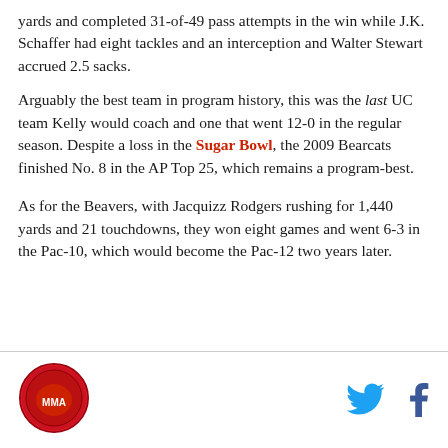yards and completed 31-of-49 pass attempts in the win while J.K. Schaffer had eight tackles and an interception and Walter Stewart accrued 2.5 sacks.
Arguably the best team in program history, this was the last UC team Kelly would coach and one that went 12-0 in the regular season. Despite a loss in the Sugar Bowl, the 2009 Bearcats finished No. 8 in the AP Top 25, which remains a program-best.
As for the Beavers, with Jacquizz Rodgers rushing for 1,440 yards and 21 touchdowns, they won eight games and went 6-3 in the Pac-10, which would become the Pac-12 two years later.
[Figure (logo): Red circular sports logo with a mascot]